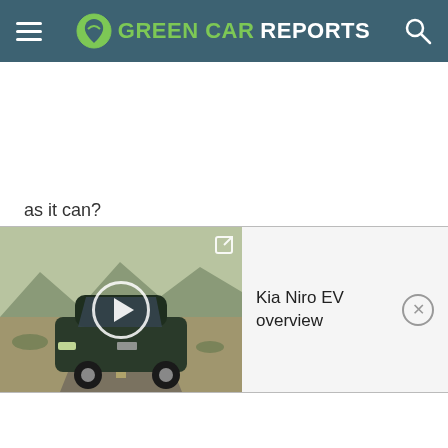GREEN CAR REPORTS
as it can?
Internet Brands Automotive accepted lodging and some travel expenses in order to gain early vehicle access and bring you this first-hand drive.
[Figure (screenshot): Video thumbnail showing a Kia Niro EV driving on a desert road with play button overlay and expand icon. Video title panel reads 'Kia Niro EV overview' with a close button.]